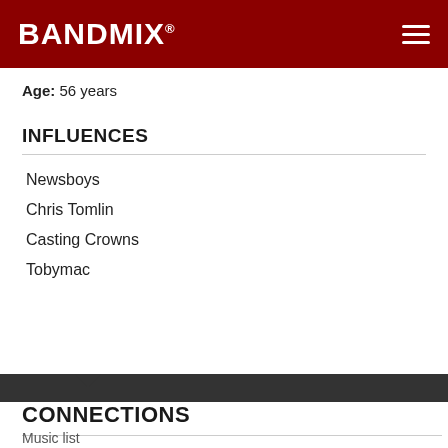BANDMIX®
Age:  56 years
INFLUENCES
Newsboys
Chris Tomlin
Casting Crowns
Tobymac
CONNECTIONS
Music list